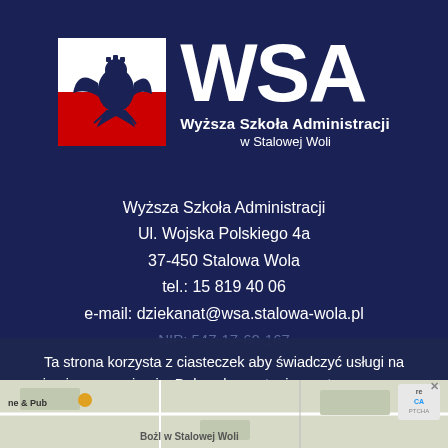[Figure (logo): WSA Wyższa Szkoła Administracji w Stalowej Woli logo with Polish eagle on white/red flag and large WSA text]
Wyższa Szkoła Administracji
Ul. Wojska Polskiego 4a
37-450 Stalowa Wola
tel.: 15 819 40 06
e-mail: dziekanat@wsa.stalowa-wola.pl
NIP: 547-17-60-167
Ta strona korzysta z ciasteczek aby świadczyć usługi na najwyższym poziomie. Dalsze korzystanie ze strony oznacza, że zgadzasz się na ich użycie.
Zgoda
Polityka prywatności
[Figure (map): Partial Google Maps view showing street area near Stalowa Wola]